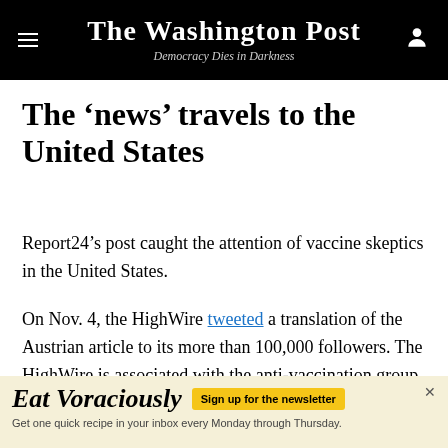The Washington Post — Democracy Dies in Darkness
The ‘news’ travels to the United States
Report24’s post caught the attention of vaccine skeptics in the United States.
On Nov. 4, the HighWire tweeted a translation of the Austrian article to its more than 100,000 followers. The HighWire is associated with the anti-vaccination group Informed Consent Action Network, which is headed by Del Bigtree, a major voice in the anti-vaccination
[Figure (other): Advertisement banner for 'Eat Voraciously' newsletter with sign-up button and tagline: Get one quick recipe in your inbox every Monday through Thursday.]